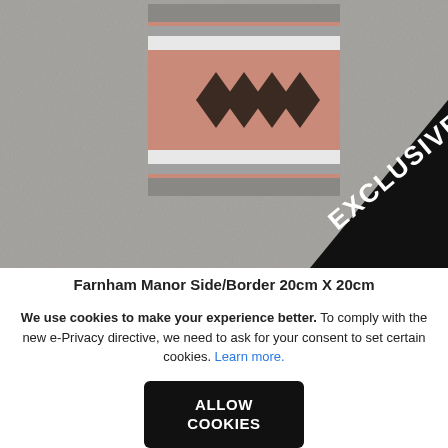[Figure (photo): A decorative ceramic tile sample with a geometric diamond pattern in dark brown/chocolate on a pink/terracotta background with grey and white striped borders, placed on a grey concrete-textured surface. A black diagonal banner with white text reading 'EXCLUSIVE' is overlaid in the bottom-right corner.]
Farnham Manor Side/Border 20cm X 20cm
We use cookies to make your experience better. To comply with the new e-Privacy directive, we need to ask for your consent to set certain cookies. Learn more.
ALLOW COOKIES